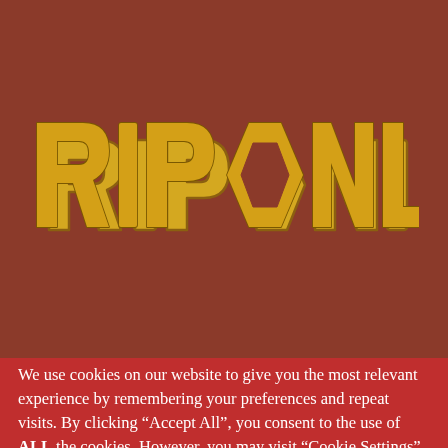[Figure (logo): RIPONLINE logo in stylized runic/ancient Greek-style golden yellow lettering on a dark reddish-brown background]
We use cookies on our website to give you the most relevant experience by remembering your preferences and repeat visits. By clicking “Accept All”, you consent to the use of ALL the cookies. However, you may visit “Cookie Settings” to provide a controlled consent.